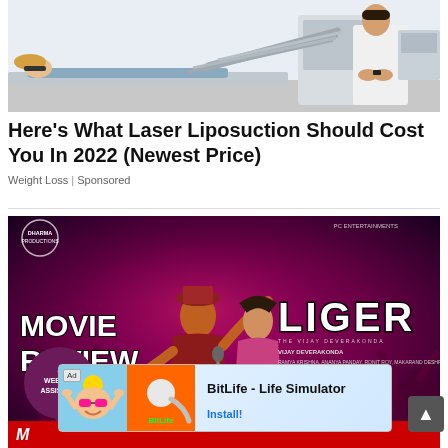[Figure (photo): Medical procedure photo: patient lying on treatment table, doctor in white coat standing nearby, medical laser liposuction machine with tubes/hoses visible]
Here's What Laser Liposuction Should Cost You In 2022 (Newest Price)
Weight Loss | Sponsored
[Figure (photo): Movie review promotional image for Liger film: dancers in red festive scene with 'MOVIE REVIEW' text on left, 'LIGER' title on right, Dharma Productions logo visible, red banner at bottom with 'M']
[Figure (screenshot): Ad banner for BitLife - Life Simulator app with baby cartoon image and green sperm logo on orange background, Install button]